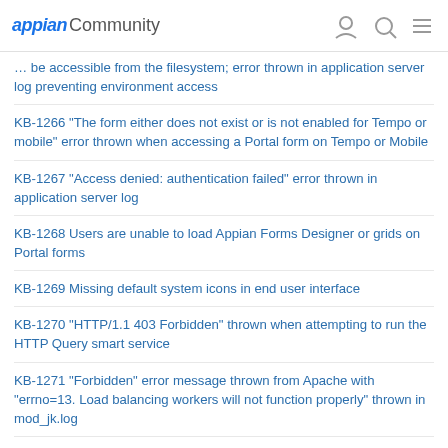appian Community
… be accessible from the filesystem; error thrown in application server log preventing environment access
KB-1266 "The form either does not exist or is not enabled for Tempo or mobile" error thrown when accessing a Portal form on Tempo or Mobile
KB-1267 "Access denied: authentication failed" error thrown in application server log
KB-1268 Users are unable to load Appian Forms Designer or grids on Portal forms
KB-1269 Missing default system icons in end user interface
KB-1270 "HTTP/1.1 403 Forbidden" thrown when attempting to run the HTTP Query smart service
KB-1271 "Forbidden" error message thrown from Apache with "errno=13. Load balancing workers will not function properly" thrown in mod_jk.log
KB-1272 Apple enforcing App Transport Security (ATS) starting 1 January 2017
KB-1273 "Duplicate items are not allowed in the choiceValues array, but choiceValues was <titles>" error thrown when creating a new user or editing an existing user in the Admin Console
KB-1274 "ORA-01017: invalid username/password; logon denied" error thrown during application server startup
KB-1275 Unclear error message thrown when saving a form with a…